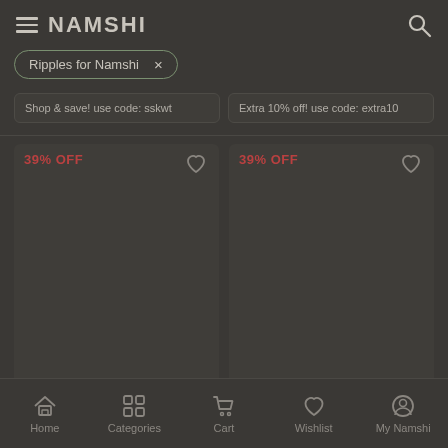NAMSHI
Ripples for Namshi ×
Shop & save! use code: sskwt
Extra 10% off! use code: extra10
39% OFF
39% OFF
[Figure (screenshot): Two product cards with 39% OFF badges and heart wishlist icons, product images not visible due to dark overlay]
⬆ Sort   ▼ Filter ✓
Home   Categories   Cart   Wishlist   My Namshi